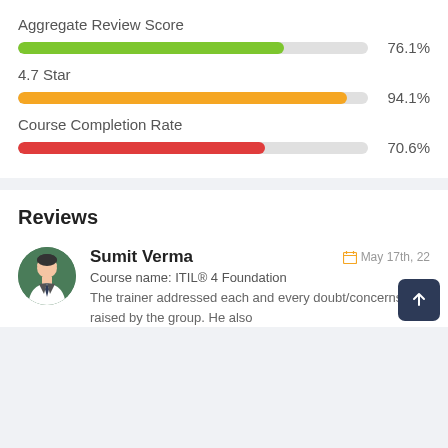Aggregate Review Score
[Figure (bar-chart): Aggregate Review Score]
4.7 Star
[Figure (bar-chart): 4.7 Star]
Course Completion Rate
[Figure (bar-chart): Course Completion Rate]
Reviews
Sumit Verma
May 17th, 22
Course name: ITIL® 4 Foundation
The trainer addressed each and every doubt/concerns raised by the group. He also